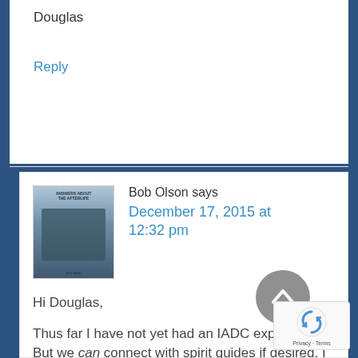Douglas
Reply
Bob Olson says
December 17, 2015 at 12:32 pm
Hi Douglas,
Thus far I have not yet had an IADC experience. But we can connect with spirit guides if desired. I connected with mine in a Life-Between-Lives Regression, and it’s very common to do so using hypnosis / guided meditation. Check out the technique discussed in